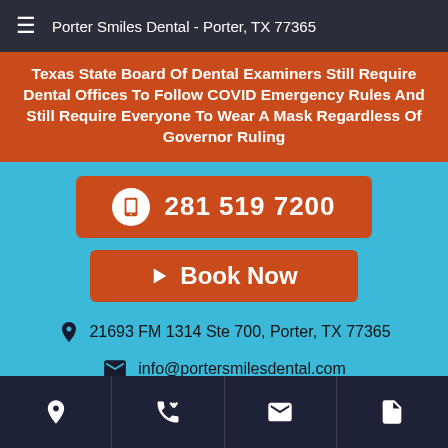Porter Smiles Dental - Porter, TX 77365
Texas State Board Of Dental Examiners Still Require Dental Offices To Follow COVID Emergency Rules And Still Require Everyone To Wear A Mask Regardless Of Governor Ruling
281 519 7200
Book Now
21693 FM 1314 Ste 700, Porter, TX 77365
info@portersmilesdental.com
[Figure (logo): Facebook icon in white circle]
Navigation icons: location, phone, email, document